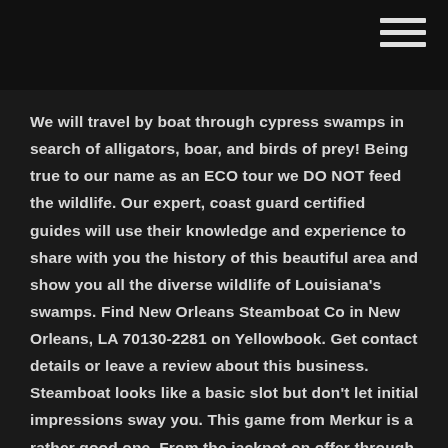We will travel by boat through cypress swamps in search of alligators, boar, and birds of prey! Being true to our name as an ECO tour we DO NOT feed the wildlife. Our expert, coast guard certified guides will use their knowledge and experience to share with you the history of this beautiful area and show you all the diverse wildlife of Louisiana's swamps. Find New Orleans Steamboat Co in New Orleans, LA 70130-2281 on Yellowbook. Get contact details or leave a review about this business. Steamboat looks like a basic slot but don't let initial impressions sway you. This game from Merkur is a rather good one. From the jackpot on offer through to whether you can play using a mobile, find out everything you need to know about this slot when you read